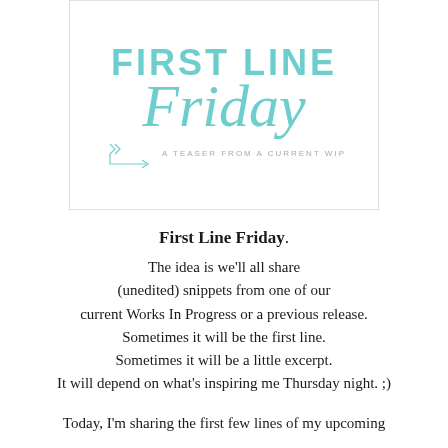[Figure (logo): First Line Friday logo with teal text reading 'FIRST LINE' and 'Friday' in script, with an arrow and subtitle 'A TEASER FROM A CURRENT WIP']
First Line Friday.
The idea is we'll all share (unedited) snippets from one of our current Works In Progress or a previous release. Sometimes it will be the first line. Sometimes it will be a little excerpt. It will depend on what's inspiring me Thursday night. ;)
Today, I'm sharing the first few lines of my upcoming